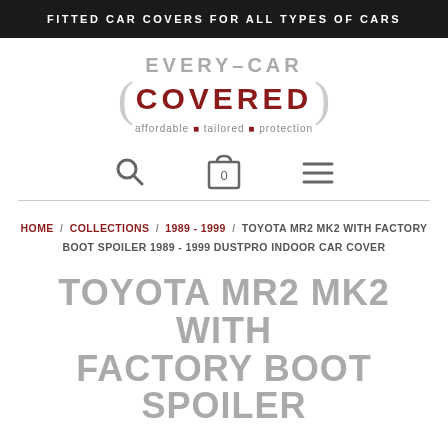FITTED CAR COVERS FOR ALL TYPES OF CARS
[Figure (logo): Every-Car Covered logo with tagline: affordable tailored protection]
[Figure (other): Navigation icons: search magnifier, shopping bag with 0, hamburger menu]
HOME / COLLECTIONS / 1989 - 1999 / TOYOTA MR2 MK2 WITH FACTORY BOOT SPOILER 1989 - 1999 DUSTPRO INDOOR CAR COVER
TOYOTA MR2 MK2 WITH FACTORY BOOT SPOILER